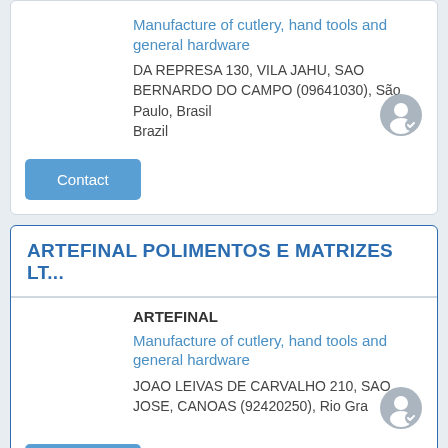Manufacture of cutlery, hand tools and general hardware
DA REPRESA 130, VILA JAHU, SAO BERNARDO DO CAMPO (09641030), São Paulo, Brasil
Brazil
Contact
ARTEFINAL POLIMENTOS E MATRIZES LT...
ARTEFINAL
Manufacture of cutlery, hand tools and general hardware
JOAO LEIVAS DE CARVALHO 210, SAO JOSE, CANOAS (92420250), Rio Gra
Contact